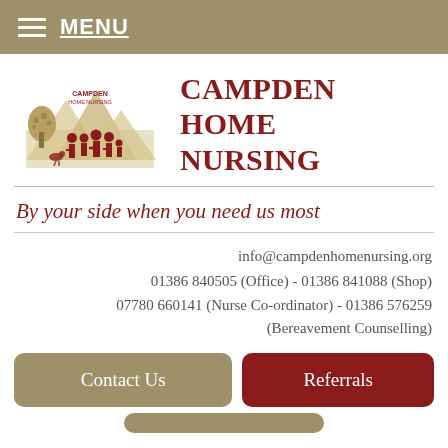MENU
[Figure (logo): Campden Home Nursing logo showing silhouette figures of a family in front of a village landscape with a tree]
CAMPDEN HOME NURSING
By your side when you need us most
info@campdenhomenursing.org
01386 840505 (Office) - 01386 841088 (Shop)
07780 660141 (Nurse Co-ordinator) - 01386 576259 (Bereavement Counselling)
Contact Us
Referrals